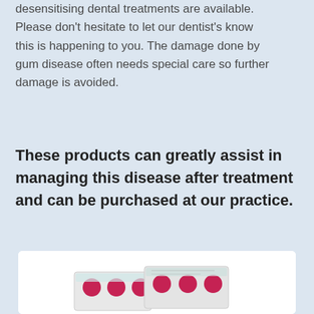desensitising dental treatments are available. Please don't hesitate to let our dentist's know this is happening to you. The damage done by gum disease often needs special care so further damage is avoided.
These products can greatly assist in managing this disease after treatment and can be purchased at our practice.
[Figure (photo): A white box containing dental products (blister packs with red circular tablets/pills visible), partially shown at the bottom of the page.]